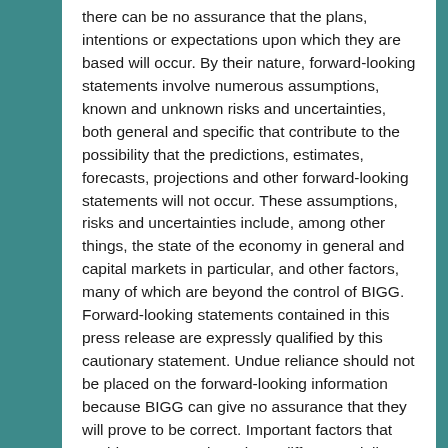there can be no assurance that the plans, intentions or expectations upon which they are based will occur. By their nature, forward-looking statements involve numerous assumptions, known and unknown risks and uncertainties, both general and specific that contribute to the possibility that the predictions, estimates, forecasts, projections and other forward-looking statements will not occur. These assumptions, risks and uncertainties include, among other things, the state of the economy in general and capital markets in particular, and other factors, many of which are beyond the control of BIGG. Forward-looking statements contained in this press release are expressly qualified by this cautionary statement. Undue reliance should not be placed on the forward-looking information because BIGG can give no assurance that they will prove to be correct. Important factors that could cause actual results to differ materially from BIGG's expectations include, consumer sentiment towards